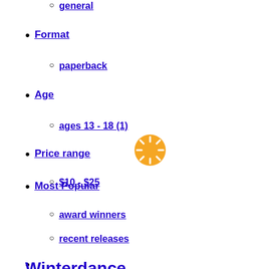general
Format
paperback
Age
ages 13 - 18 (1)
Price range
$10 - $25
[Figure (other): Orange loading spinner icon]
Most Popular
award winners
recent releases
Winterdance